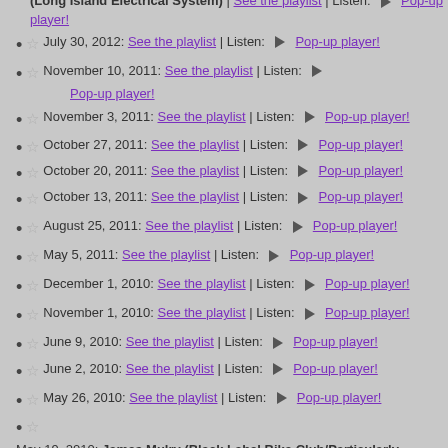(Long Island Electrical System) | See the playlist | Listen: ▶ Pop-up player!
July 30, 2012: See the playlist | Listen: ▶ Pop-up player!
November 10, 2011: See the playlist | Listen: ▶ Pop-up player!
November 3, 2011: See the playlist | Listen: ▶ Pop-up player!
October 27, 2011: See the playlist | Listen: ▶ Pop-up player!
October 20, 2011: See the playlist | Listen: ▶ Pop-up player!
October 13, 2011: See the playlist | Listen: ▶ Pop-up player!
August 25, 2011: See the playlist | Listen: ▶ Pop-up player!
May 5, 2011: See the playlist | Listen: ▶ Pop-up player!
December 1, 2010: See the playlist | Listen: ▶ Pop-up player!
November 1, 2010: See the playlist | Listen: ▶ Pop-up player!
June 9, 2010: See the playlist | Listen: ▶ Pop-up player!
June 2, 2010: See the playlist | Listen: ▶ Pop-up player!
May 26, 2010: See the playlist | Listen: ▶ Pop-up player!
May 19, 2010: James Mulry (Black Label Bike Club/Particularly Random At Tandem) does his thaaang | See the